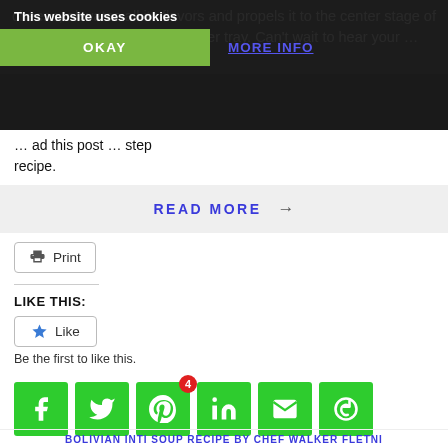cheese, elevates all its flavors and propels it to the center stage of a breakfast table or an appetizer tray. Can't wait to hear your … ad this post … step recipe.
This website uses cookies
OKAY
MORE INFO
READ MORE →
Print
LIKE THIS:
Like
Be the first to like this.
[Figure (infographic): Six green square social sharing buttons: Facebook (f), Twitter (bird), Pinterest (P) with badge showing 4, LinkedIn (in), Email (envelope), More (circular arrow)]
BOLIVIAN INTI SOUP RECIPE BY CHEF WALKER FLETNI